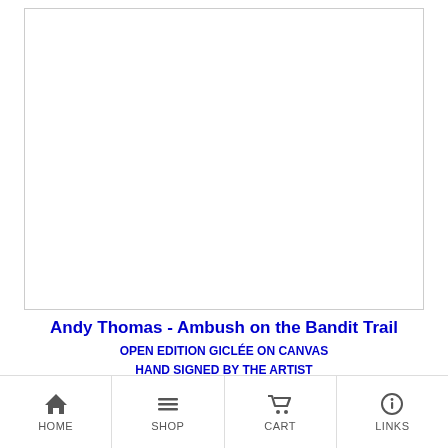[Figure (illustration): Western oil painting showing cowboys on horseback in a rocky canyon, dramatic scene with multiple horses including a white horse rearing up, warm brown and orange tones, depicting an ambush scene]
Andy Thomas - Ambush on the Bandit Trail
OPEN EDITION GICLÉE ON CANVAS
HAND SIGNED BY THE ARTIST
10 X 15
HOME  SHOP  CART  LINKS